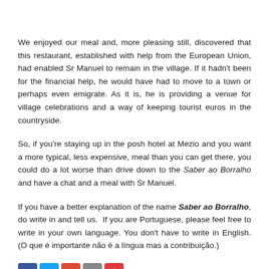We enjoyed our meal and, more pleasing still, discovered that this restaurant, established with help from the European Union, had enabled Sr Manuel to remain in the village. If it hadn't been for the financial help, he would have had to move to a town or perhaps even emigrate. As it is, he is providing a venue for village celebrations and a way of keeping tourist euros in the countryside.
So, if you're staying up in the posh hotel at Mezio and you want a more typical, less expensive, meal than you can get there, you could do a lot worse than drive down to the Saber ao Borralho and have a chat and a meal with Sr Manuel.
If you have a better explanation of the name Saber ao Borralho, do write in and tell us. If you are Portuguese, please feel free to write in your own language. You don't have to write in English. (O que é importante não é a língua mas a contribuição.)
[Figure (other): Social sharing icons: Facebook (blue), Twitter (light blue), Google+ (red), Email (grey), Plus/add (red)]